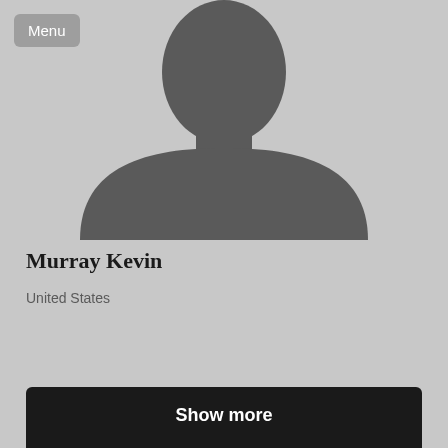[Figure (illustration): Generic grey silhouette placeholder avatar image of a person (head and shoulders) on a light grey background]
Menu
Murray Kevin
United States
Show more